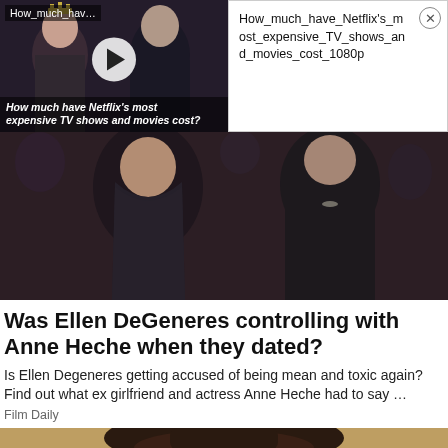[Figure (screenshot): Video thumbnail showing royals with text 'How_much_hav...' and play button overlay, caption 'How much have Netflix's most expensive TV shows and movies cost?']
How_much_have_Netflix's_most_expensive_TV_shows_and_movies_cost_1080p
[Figure (photo): Photo of two people in black outfits at a formal event]
Was Ellen DeGeneres controlling with Anne Heche when they dated?
Is Ellen Degeneres getting accused of being mean and toxic again? Find out what ex girlfriend and actress Anne Heche had to say ...
Film Daily
[Figure (photo): Partial photo at bottom showing person in hat, sandy/warm tones]